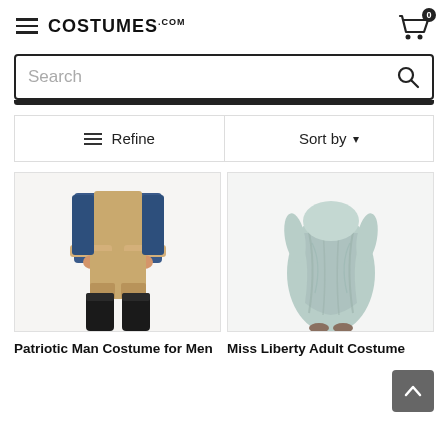COSTUMES.com
Search
≡ Refine    Sort by ▾
[Figure (photo): Patriotic man costume showing tan breeches, black knee-high boots, and blue coat, cropped from mid-torso to feet]
[Figure (photo): Miss Liberty adult costume showing light blue/grey draped gown, cropped from mid-torso to feet]
Patriotic Man Costume for Men
Miss Liberty Adult Costume